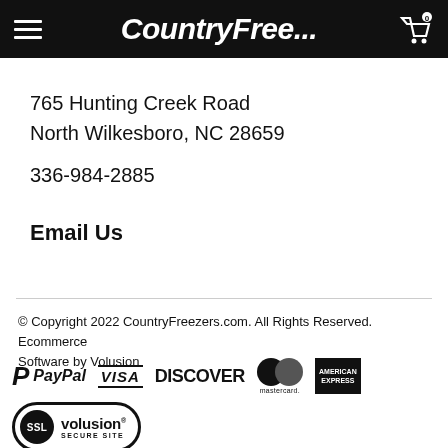CountryFree...
765 Hunting Creek Road
North Wilkesboro, NC 28659
336-984-2885
Email Us
© Copyright 2022 CountryFreezers.com. All Rights Reserved. Ecommerce Software by Volusion
[Figure (logo): Payment logos: PayPal, VISA, DISCOVER, Mastercard, American Express, and SSL Volusion Secure Site badge]